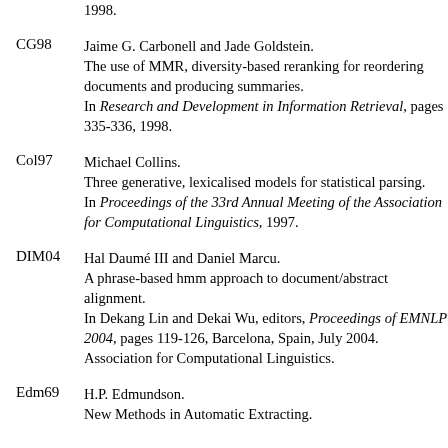1998.
CG98
Jaime G. Carbonell and Jade Goldstein.
The use of MMR, diversity-based reranking for reordering documents and producing summaries.
In Research and Development in Information Retrieval, pages 335-336, 1998.
Col97
Michael Collins.
Three generative, lexicalised models for statistical parsing.
In Proceedings of the 33rd Annual Meeting of the Association for Computational Linguistics, 1997.
DIM04
Hal Daumé III and Daniel Marcu.
A phrase-based hmm approach to document/abstract alignment.
In Dekang Lin and Dekai Wu, editors, Proceedings of EMNLP 2004, pages 119-126, Barcelona, Spain, July 2004. Association for Computational Linguistics.
Edm69
H.P. Edmundson.